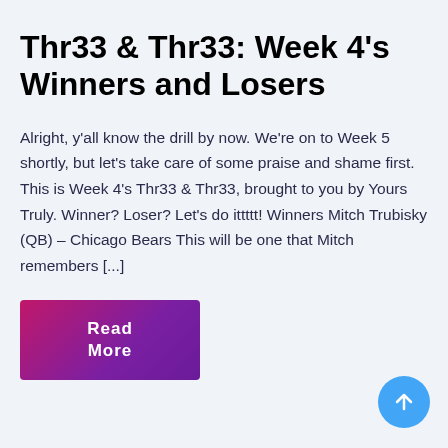Thr33 & Thr33: Week 4's Winners and Losers
Alright, y'all know the drill by now. We're on to Week 5 shortly, but let's take care of some praise and shame first. This is Week 4's Thr33 & Thr33, brought to you by Yours Truly. Winner? Loser? Let's do ittttt! Winners Mitch Trubisky (QB) – Chicago Bears This will be one that Mitch remembers [...]
[Figure (other): Read More button — purple/magenta gradient rectangular button with white bold text 'Read More']
[Figure (other): Scroll-to-top circular blue button with white upward arrow, positioned bottom-right]